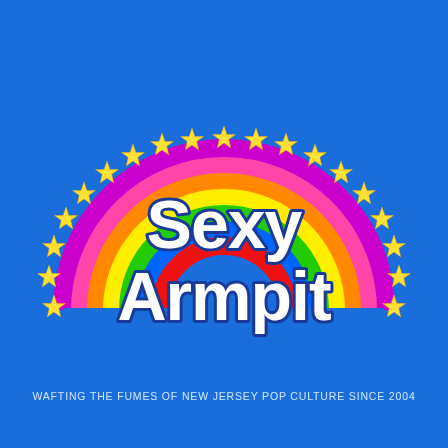[Figure (logo): Sexy Armpit logo: a rainbow semicircle with multiple colored bands (purple, pink, orange, yellow, green, blue, red) on a bright blue background, surrounded by yellow five-pointed stars arranged in a semicircular arc. Large bold white text reads 'Sexy Armpit' centered over the rainbow.]
WAFTING THE FUMES OF NEW JERSEY POP CULTURE SINCE 2004